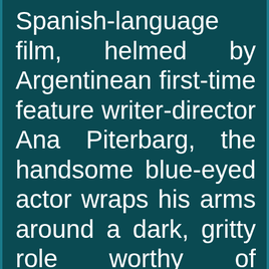Spanish-language film, helmed by Argentinean first-time feature writer-director Ana Piterbarg, the handsome blue-eyed actor wraps his arms around a dark, gritty role worthy of Cronenberg: identical